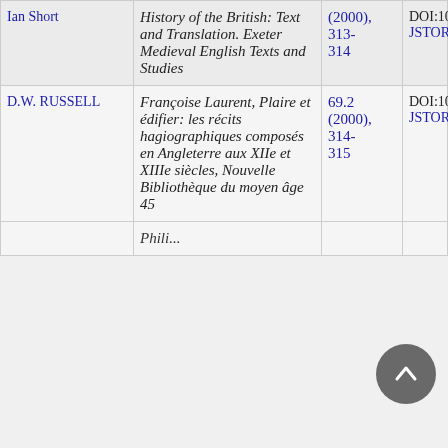| Author | Title | Pages | DOI/Source |
| --- | --- | --- | --- |
| Ian Short | History of the British: Text and Translation. Exeter Medieval English Texts and Studies | (2000), 313-314 | DOI:10.2307/4363... JSTOR |
| D.W. RUSSELL | Françoise Laurent, Plaire et édifier: les récits hagiographiques composés en Angleterre aux XIIe et XIIIe siècles, Nouvelle Bibliothèque du moyen âge 45 | 69.2 (2000), 314-315 | DOI:10.2307/4363... JSTOR |